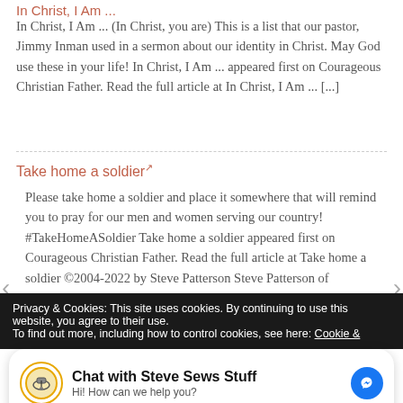In Christ, I Am ...
In Christ, I Am ... (In Christ, you are) This is a list that our pastor, Jimmy Inman used in a sermon about our identity in Christ. May God use these in your life! In Christ, I Am ... appeared first on Courageous Christian Father. Read the full article at In Christ, I Am ... [...]
Take home a soldier ↗
Please take home a soldier and place it somewhere that will remind you to pray for our men and women serving our country! #TakeHomeASoldier Take home a soldier appeared first on Courageous Christian Father. Read the full article at Take home a soldier ©2004-2022 by Steve Patterson Steve Patterson of Courageous Christian Father. Courageous
Privacy & Cookies: This site uses cookies. By continuing to use this website, you agree to their use.
To find out more, including how to control cookies, see here: Cookie &
Chat with Steve Sews Stuff
Hi! How can we help you?
Father. Read the full article at God is like bleach He removes